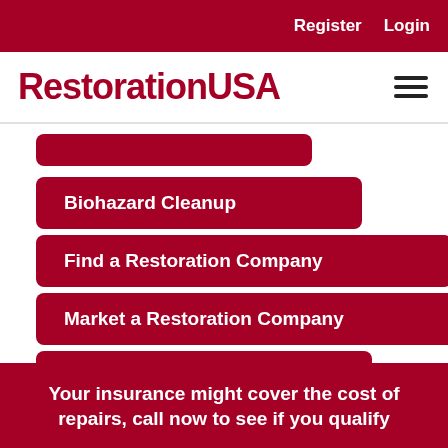Register  Login
RestorationUSA
Biohazard Cleanup
Find a Restoration Company
Market a Restoration Company
Restoration Articles
Your insurance might cover the cost of repairs, call now to see if you qualify